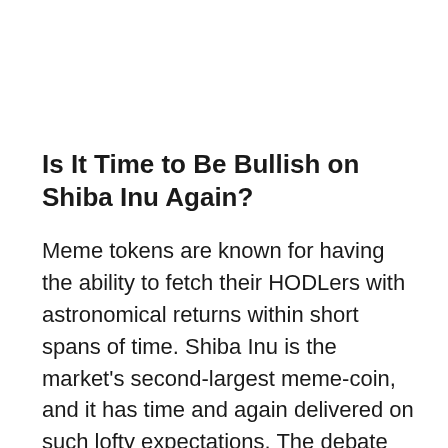Is It Time to Be Bullish on Shiba Inu Again?
Meme tokens are known for having the ability to fetch their HODLers with astronomical returns within short spans of time. Shiba Inu is the market's second-largest meme-coin, and it has time and again delivered on such lofty expectations. The debate surrounding whether or not meme-coins make good investment options is loaded with differing viewpoints. Usually, market participants who do not advocate coins from this